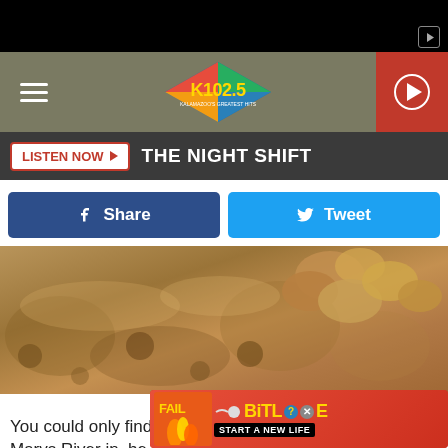[Figure (screenshot): Top black bar with ad icon]
[Figure (logo): K102.5 radio station logo with hamburger menu and play button]
LISTEN NOW  THE NIGHT SHIFT
[Figure (other): Facebook Share and Twitter Tweet social buttons]
[Figure (photo): Close-up photo of rock snot (didymo algae) on river rocks - brown textured surface]
Lake Superior State University
You could only find rock snot in Michigan in the St. Marys River in the Upper
[Figure (screenshot): BitLife advertisement overlay - FAIL themed ad with START A NEW LIFE text]